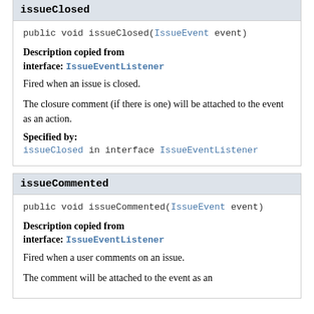issueClosed
public void issueClosed(IssueEvent event)
Description copied from interface: IssueEventListener
Fired when an issue is closed.
The closure comment (if there is one) will be attached to the event as an action.
Specified by:
issueClosed in interface IssueEventListener
issueCommented
public void issueCommented(IssueEvent event)
Description copied from interface: IssueEventListener
Fired when a user comments on an issue.
The comment will be attached to the event as an